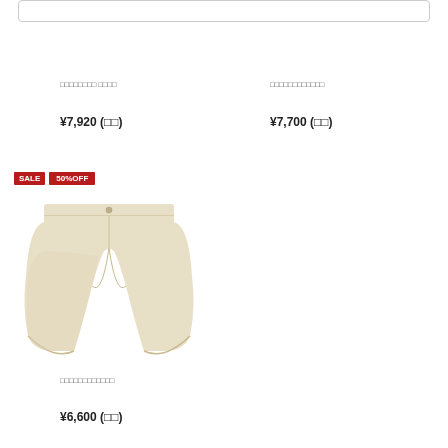□□□□□□□□ □□□□
¥7,920 (□□)
□□□□□□□□□□□□
¥7,700 (□□)
[Figure (photo): Beige/cream colored men's chino shorts with button closure and pockets, flat lay product photo]
SALE  50%OFF
□□□□□□□□□□□□
¥6,600 (□□)